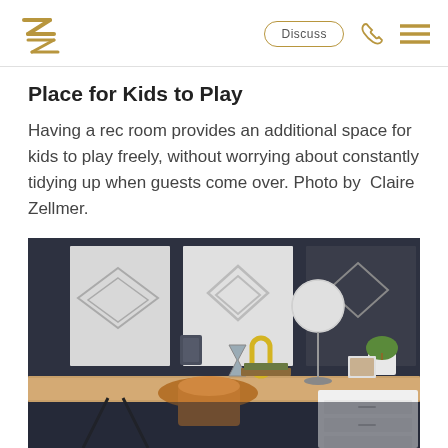ZZ logo with Discuss, phone, and menu icons
Place for Kids to Play
Having a rec room provides an additional space for kids to play freely, without worrying about constantly tidying up when guests come over. Photo by Claire Zellmer.
[Figure (photo): Interior photo of a modern home office/rec room with a dark charcoal accent wall, a light wood desk with sawhorse legs, a brown leather chair, a globe table lamp, decorative objects including a yellow arch sculpture, books, a small hourglass, a plant, a framed photo, and geometric art prints on the wall.]